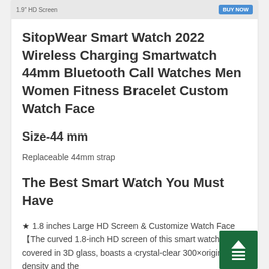[Figure (photo): Product image strip showing smartwatch with '1.9" HD Screen' label and a BUY NOW button]
SitopWear Smart Watch 2022 Wireless Charging Smartwatch 44mm Bluetooth Call Watches Men Women Fitness Bracelet Custom Watch Face
Size-44 mm
Replaceable 44mm strap
The Best Smart Watch You Must Have
★ 1.8 inches Large HD Screen & Customize Watch Face【The curved 1.8-inch HD screen of this smart watch, covered in 3D glass, boasts a crystal-clear 300×original density and the